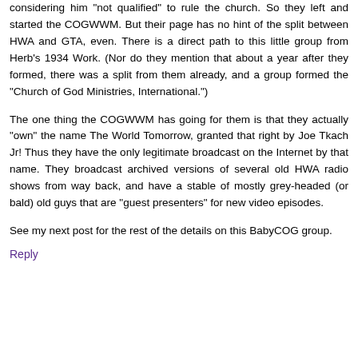considering him "not qualified" to rule the church. So they left and started the COGWWM. But their page has no hint of the split between HWA and GTA, even. There is a direct path to this little group from Herb's 1934 Work. (Nor do they mention that about a year after they formed, there was a split from them already, and a group formed the "Church of God Ministries, International.")
The one thing the COGWWM has going for them is that they actually "own" the name The World Tomorrow, granted that right by Joe Tkach Jr! Thus they have the only legitimate broadcast on the Internet by that name. They broadcast archived versions of several old HWA radio shows from way back, and have a stable of mostly grey-headed (or bald) old guys that are "guest presenters" for new video episodes.
See my next post for the rest of the details on this BabyCOG group.
Reply